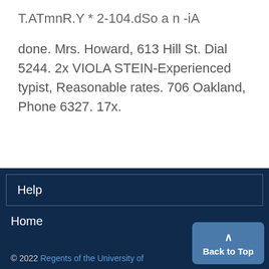T.ATmnR.Y * 2-104.dSo a n -iA
done. Mrs. Howard, 613 Hill St. Dial 5244. 2x VIOLA STEIN-Experienced typist, Reasonable rates. 706 Oakland, Phone 6327. 17x.
Help
Home
© 2022 Regents of the University of